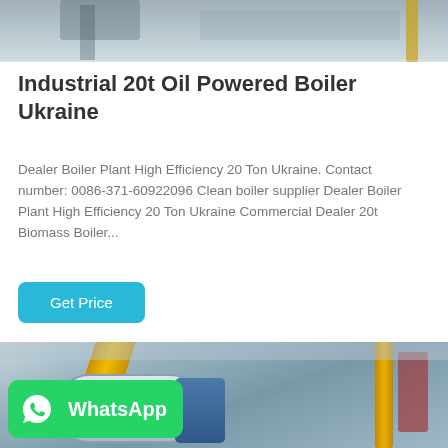[Figure (photo): Top portion of industrial boiler equipment photo, partially cropped]
Industrial 20t Oil Powered Boiler Ukraine
Dealer Boiler Plant High Efficiency 20 Ton Ukraine. Contact number: 0086-371-60922096 Clean boiler supplier Dealer Boiler Plant High Efficiency 20 Ton Ukraine Commercial Dealer 20t Biomass Boiler...
[Figure (photo): Industrial boiler room interior with yellow pipes, white cylindrical boiler tank, and industrial equipment. WhatsApp contact badge overlaid in bottom-left corner.]